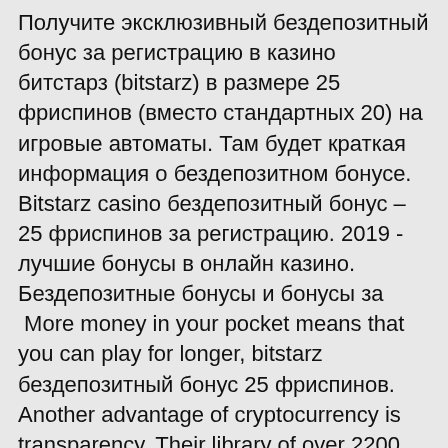Получите эксклюзивный бездепозитный бонус за регистрацию в казино битстарз (bitstarz) в размере 25 фриспинов (вместо стандартных 20) на игровые автоматы. Там будет краткая информация о бездепозитном бонусе. Bitstarz casino бездепозитный бонус – 25 фриспинов за регистрацию. 2019 - лучшие бонусы в онлайн казино. Бездепозитные бонусы и бонусы за
 More money in your pocket means that you can play for longer, bitstarz бездепозитный бонус 25 фриспинов. Another advantage of cryptocurrency is transparency. Their library of over 2200 games along with their exclusive design and responsive platform makes them one of the best choices for online crypto casinos. Online since: 2014 License: Curacao Min deposit: 0, bitstarz бездепозитный бонус 20 giri gratuiti. There's currently no fiat currency support on